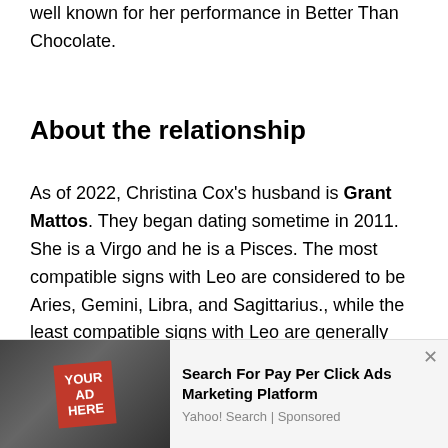well known for her performance in Better Than Chocolate.
About the relationship
As of 2022, Christina Cox's husband is Grant Mattos. They began dating sometime in 2011. She is a Virgo and he is a Pisces. The most compatible signs with Leo are considered to be Aries, Gemini, Libra, and Sagittarius., while the least compatible signs with Leo are generally considered to be Taurus and Scorpio. Grant Mattos is 41 years old, while
[Figure (screenshot): Advertisement banner showing a laptop with 'YOUR AD HERE' sign, promoting Pay Per Click Ads Marketing Platform via Yahoo! Search]
Search For Pay Per Click Ads Marketing Platform
Yahoo! Search | Sponsored